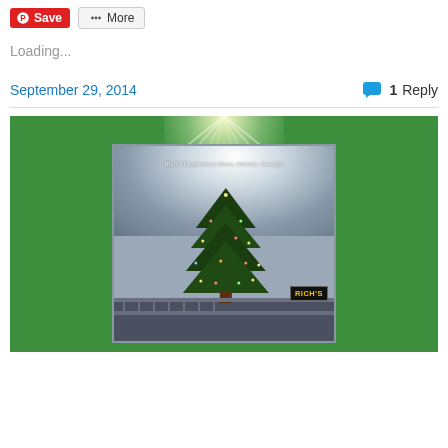[Figure (screenshot): Save and More buttons — Pinterest Save button (red) and a More button (grey with share icon)]
Loading...
September 29, 2014     1 Reply
[Figure (photo): Photograph of a vintage postcard showing Rich's Department Store, Atlanta, Georgia — a large decorated Christmas tree on a rooftop bridge with the Rich's sign visible, set against a dramatic sky. The postcard is placed on a bright green background with a light burst at top.]